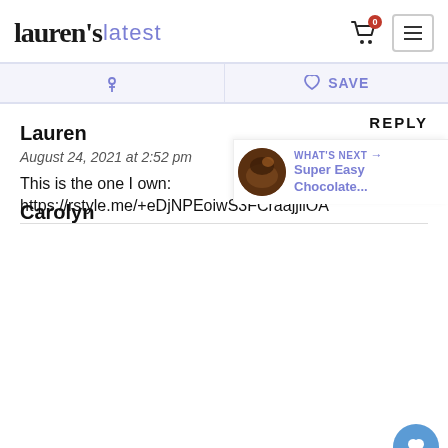lauren's latest
Pinterest | ♡ SAVE
REPLY
Lauren
August 24, 2021 at 2:52 pm
This is the one I own:
https://rstyle.me/+eDjNPEoiwS3FCraajjilOA
396
WHAT'S NEXT → Super Easy Chocolate...
Carolyn